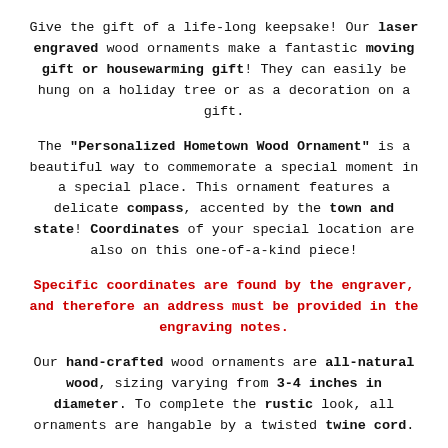Give the gift of a life-long keepsake! Our laser engraved wood ornaments make a fantastic moving gift or housewarming gift! They can easily be hung on a holiday tree or as a decoration on a gift.
The "Personalized Hometown Wood Ornament" is a beautiful way to commemorate a special moment in a special place. This ornament features a delicate compass, accented by the town and state! Coordinates of your special location are also on this one-of-a-kind piece!
Specific coordinates are found by the engraver, and therefore an address must be provided in the engraving notes.
Our hand-crafted wood ornaments are all-natural wood, sizing varying from 3-4 inches in diameter. To complete the rustic look, all ornaments are hangable by a twisted twine cord.
Our Personalized Wood Ornament is a great addition to a baby